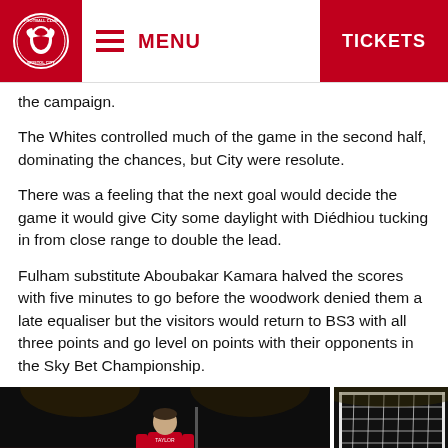Bristol City FC - MENU | TICKETS
the campaign.
The Whites controlled much of the game in the second half, dominating the chances, but City were resolute.
There was a feeling that the next goal would decide the game it would give City some daylight with Diédhiou tucking in from close range to double the lead.
Fulham substitute Aboubakar Kamara halved the scores with five minutes to go before the woodwork denied them a late equaliser but the visitors would return to BS3 with all three points and go level on points with their opponents in the Sky Bet Championship.
[Figure (photo): Football match photo showing a player in red Bristol City kit with number 4, viewed from behind, on a floodlit pitch with crowd in background]
[Figure (photo): Football match photo showing a goal net at night under floodlights]